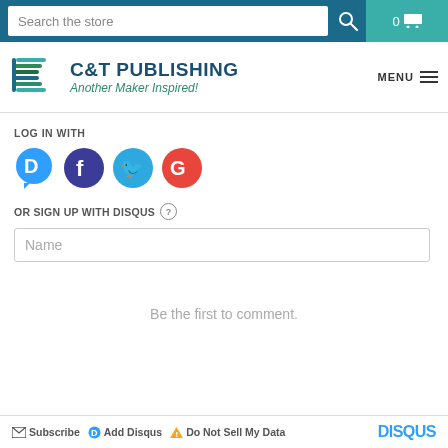Search the store | 0 cart
[Figure (logo): C&T Publishing logo with stylized C icon and tagline 'Another Maker Inspired!']
LOG IN WITH
[Figure (illustration): Social login icons: Disqus (blue), Facebook (dark purple), Twitter (light blue), Google (red)]
OR SIGN UP WITH DISQUS ?
Name
Be the first to comment.
Subscribe | Add Disqus | Do Not Sell My Data | DISQUS